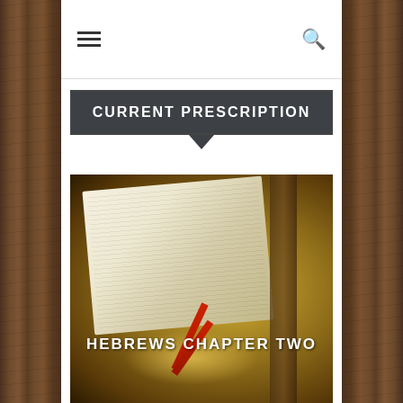[Figure (photo): Wood texture panels on left and right sides of page]
≡  🔍
CURRENT PRESCRIPTION
[Figure (photo): Open Bible on a wooden table with warm glowing light and red ribbon bookmarks, with text overlay 'HEBREWS CHAPTER TWO']
HEBREWS CHAPTER TWO